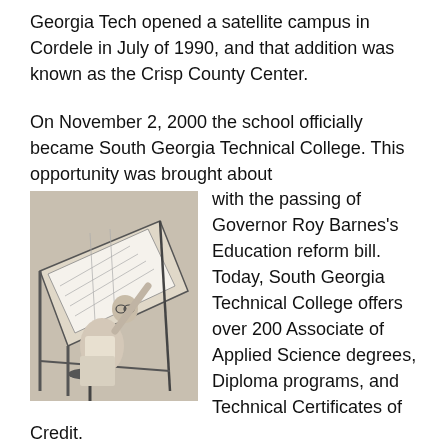Georgia Tech opened a satellite campus in Cordele in July of 1990, and that addition was known as the Crisp County Center.
On November 2, 2000 the school officially became South Georgia Technical College. This opportunity was brought about with the passing of Governor Roy Barnes's Education reform bill. Today, South Georgia Technical College offers over 200 Associate of Applied Science degrees, Diploma programs, and Technical Certificates of Credit.
[Figure (photo): Black and white photograph of a student working at a drafting table, drawing on a large tilted board with drafting tools.]
Program areas include health care and personal services, business, industrial, and transportation technologies. Adult literacy classes are currently taught in five of the six counties in our service area, which includes Sumter, Schley, Macon, Marion,